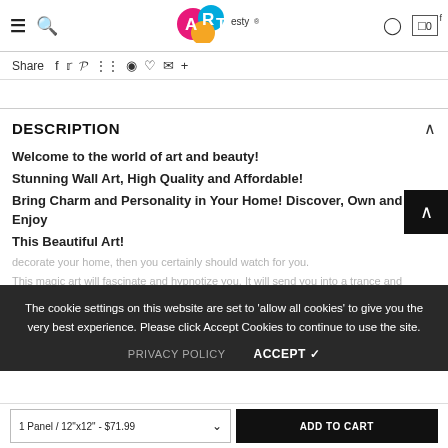ARTesty navigation header with hamburger, search, logo, user icon, cart (0)
Share f  t  p  ⋮  ♠  ♡  ✉  +
DESCRIPTION
Welcome to the world of art and beauty!
Stunning Wall Art, High Quality and Affordable!
Bring Charm and Personality in Your Home! Discover, Own and Enjoy This Beautiful Art!
The cookie settings on this website are set to 'allow all cookies' to give you the very best experience. Please click Accept Cookies to continue to use the site.
PRIVACY POLICY   ACCEPT ✓
1 Panel / 12"x12" - $71.99   ADD TO CART